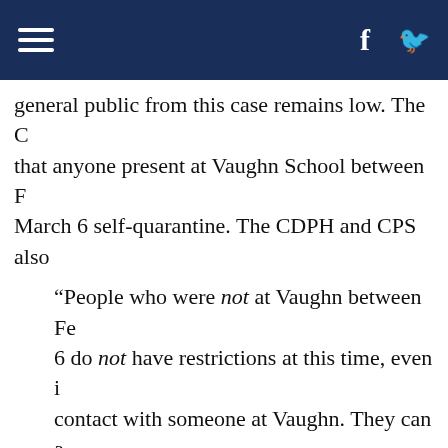Navigation bar with hamburger menu, Facebook icon, and bird/share icon
general public from this case remains low. The C that anyone present at Vaughn School between F March 6 self-quarantine. The CDPH and CPS also
“People who were not at Vaughn between Fe 6 do not have restrictions at this time, even i contact with someone at Vaughn. They can a school, as long as they are not sick. This app
Family members, care providers or household with Vaughn students, st pr
Students, faculty and staff at other